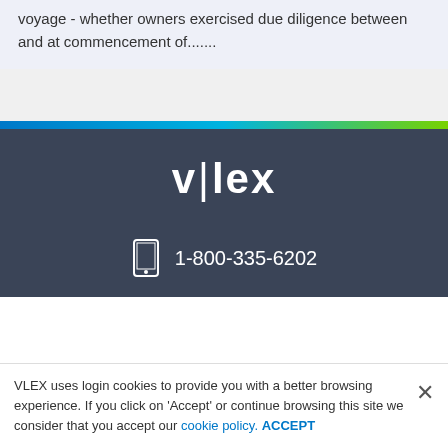voyage - whether owners exercised due diligence between and at commencement of.......
[Figure (logo): vlex logo in white text on dark background]
1-800-335-6202
VLEX uses login cookies to provide you with a better browsing experience. If you click on 'Accept' or continue browsing this site we consider that you accept our cookie policy. ACCEPT